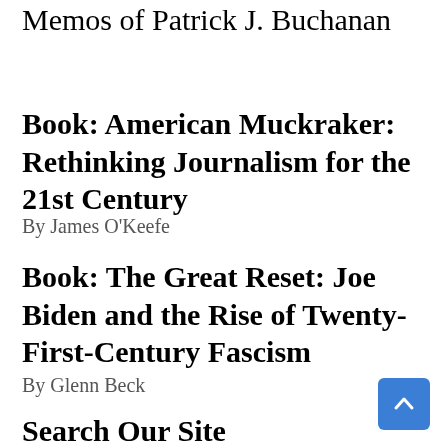Memos of Patrick J. Buchanan
Book: American Muckraker: Rethinking Journalism for the 21st Century
By James O'Keefe
Book: The Great Reset: Joe Biden and the Rise of Twenty-First-Century Fascism
By Glenn Beck
Search Our Site